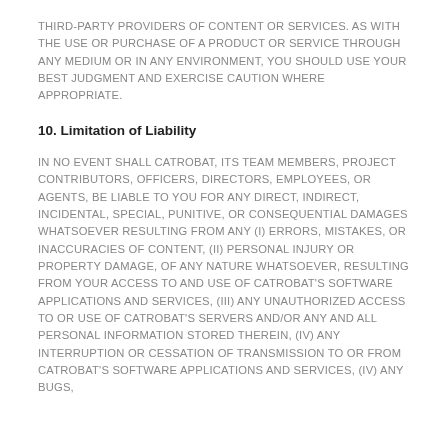THIRD-PARTY PROVIDERS OF CONTENT OR SERVICES. AS WITH THE USE OR PURCHASE OF A PRODUCT OR SERVICE THROUGH ANY MEDIUM OR IN ANY ENVIRONMENT, YOU SHOULD USE YOUR BEST JUDGMENT AND EXERCISE CAUTION WHERE APPROPRIATE.
10. Limitation of Liability
IN NO EVENT SHALL CATROBAT, ITS TEAM MEMBERS, PROJECT CONTRIBUTORS, OFFICERS, DIRECTORS, EMPLOYEES, OR AGENTS, BE LIABLE TO YOU FOR ANY DIRECT, INDIRECT, INCIDENTAL, SPECIAL, PUNITIVE, OR CONSEQUENTIAL DAMAGES WHATSOEVER RESULTING FROM ANY (I) ERRORS, MISTAKES, OR INACCURACIES OF CONTENT, (II) PERSONAL INJURY OR PROPERTY DAMAGE, OF ANY NATURE WHATSOEVER, RESULTING FROM YOUR ACCESS TO AND USE OF CATROBAT'S SOFTWARE APPLICATIONS AND SERVICES, (III) ANY UNAUTHORIZED ACCESS TO OR USE OF CATROBAT'S SERVERS AND/OR ANY AND ALL PERSONAL INFORMATION STORED THEREIN, (IV) ANY INTERRUPTION OR CESSATION OF TRANSMISSION TO OR FROM CATROBAT'S SOFTWARE APPLICATIONS AND SERVICES, (IV) ANY BUGS,